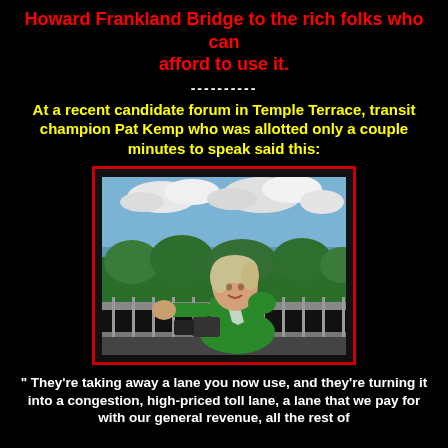Howard Frankland Bridge to the rich folks who can afford to use it.
----------
At a recent candidate forum in Temple Terrace, transit champion Pat Kemp who was allotted only a couple minutes to speak said this:
[Figure (photo): Woman in green top smiling on an outdoor deck/balcony with a waterway and greenery in the background]
" They're taking away a lane you now use, and they're turning it into a congestion, high-priced toll lane, a lane that we pay for with our general revenue, all the rest of